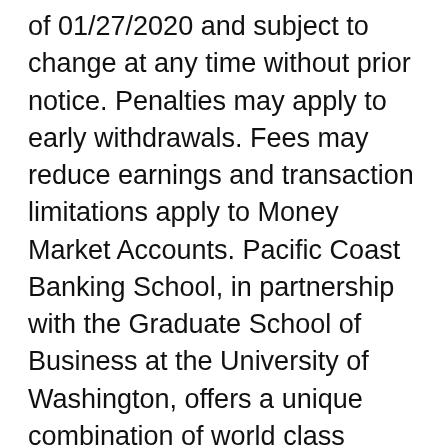of 01/27/2020 and subject to change at any time without prior notice. Penalties may apply to early withdrawals. Fees may reduce earnings and transaction limitations apply to Money Market Accounts. Pacific Coast Banking School, in partnership with the Graduate School of Business at the University of Washington, offers a unique combination of world class faculty, cutting-edge curriculum, and highly qualified participants that defines it as The Premier National Graduate School of Banking™.
Submitted in partial fulfillment of the requirements of the Pacific Coast Banking School conducted at the